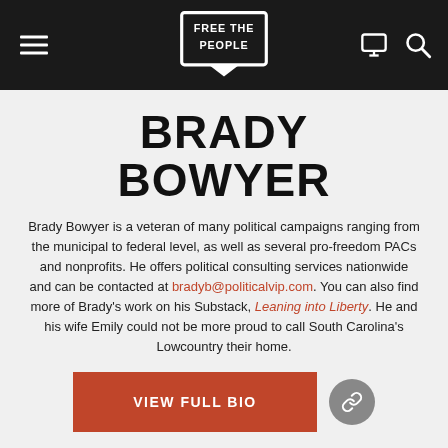Free the People — navigation bar with logo, hamburger menu, monitor icon, and search icon
BRADY BOWYER
Brady Bowyer is a veteran of many political campaigns ranging from the municipal to federal level, as well as several pro-freedom PACs and nonprofits. He offers political consulting services nationwide and can be contacted at bradyb@politicalvip.com. You can also find more of Brady's work on his Substack, Leaning into Liberty. He and his wife Emily could not be more proud to call South Carolina's Lowcountry their home.
VIEW FULL BIO
YOU MAY ALSO LIKE